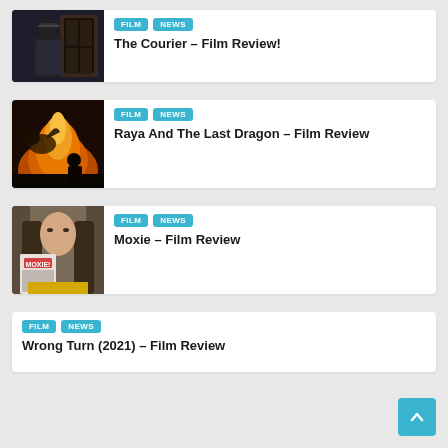[Figure (photo): Man in dark coat and hat near a door/window, film still from The Courier]
FILM NEWS
The Courier – Film Review!
[Figure (photo): Animated scene with fire and a dragon creature, film still from Raya and the Last Dragon]
FILM NEWS
Raya And The Last Dragon – Film Review
[Figure (photo): Young woman with long hair holding a magazine titled MOXIE, wearing yellow top]
FILM NEWS
Moxie – Film Review
FILM NEWS
Wrong Turn (2021) – Film Review